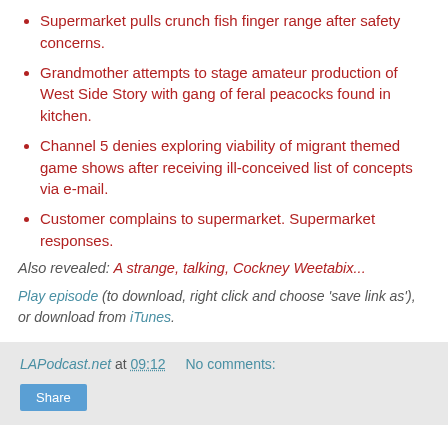Supermarket pulls crunch fish finger range after safety concerns.
Grandmother attempts to stage amateur production of West Side Story with gang of feral peacocks found in kitchen.
Channel 5 denies exploring viability of migrant themed game shows after receiving ill-conceived list of concepts via e-mail.
Customer complains to supermarket. Supermarket responses.
Also revealed: A strange, talking, Cockney Weetabix...
Play episode (to download, right click and choose 'save link as'), or download from iTunes.
LAPodcast.net at 09:12   No comments:   Share